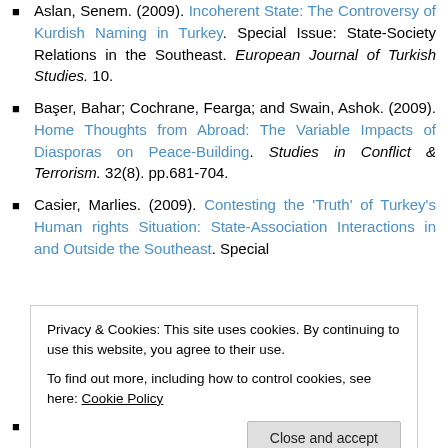Aslan, Senem. (2009). Incoherent State: The Controversy of Kurdish Naming in Turkey. Special Issue: State-Society Relations in the Southeast. European Journal of Turkish Studies. 10.
Başer, Bahar; Cochrane, Fearga; and Swain, Ashok. (2009). Home Thoughts from Abroad: The Variable Impacts of Diasporas on Peace-Building. Studies in Conflict & Terrorism. 32(8). pp.681-704.
Casier, Marlies. (2009). Contesting the 'Truth' of Turkey's Human rights Situation: State-Association Interactions in and Outside the Southeast. Special
Privacy & Cookies: This site uses cookies. By continuing to use this website, you agree to their use. To find out more, including how to control cookies, see here: Cookie Policy
Doğan, Mustafa. (2009). Kurdish Writers in Arabic...